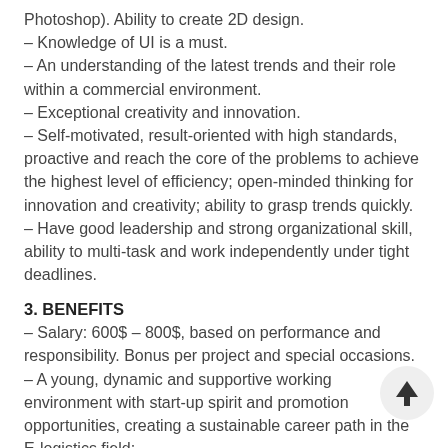Photoshop). Ability to create 2D design.
– Knowledge of UI is a must.
– An understanding of the latest trends and their role within a commercial environment.
– Exceptional creativity and innovation.
– Self-motivated, result-oriented with high standards, proactive and reach the core of the problems to achieve the highest level of efficiency; open-minded thinking for innovation and creativity; ability to grasp trends quickly.
– Have good leadership and strong organizational skill, ability to multi-task and work independently under tight deadlines.
3. BENEFITS
– Salary: 600$ – 800$, based on performance and responsibility. Bonus per project and special occasions.
– A young, dynamic and supportive working environment with start-up spirit and promotion opportunities, creating a sustainable career path in the E-logistics field;
– Get training and guidance from mentors, manager